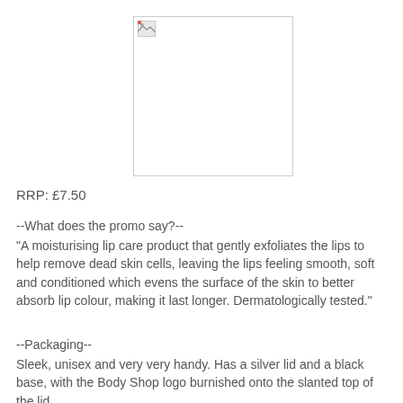[Figure (photo): Broken/missing image placeholder with a small broken image icon in the top-left corner, white background with grey border]
RRP: £7.50
--What does the promo say?--
"A moisturising lip care product that gently exfoliates the lips to help remove dead skin cells, leaving the lips feeling smooth, soft and conditioned which evens the surface of the skin to better absorb lip colour, making it last longer. Dermatologically tested."
--Packaging--
Sleek, unisex and very very handy. Has a silver lid and a black base, with the Body Shop logo burnished onto the slanted top of the lid.